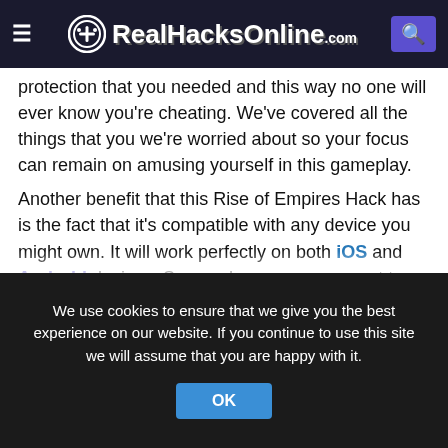RealHacksOnline.com
protection that you needed and this way no one will ever know you're cheating. We've covered all the things that you we're worried about so your focus can remain on amusing yourself in this gameplay. Another benefit that this Rise of Empires Hack has is the fact that it's compatible with any device you might own. It will work perfectly on both iOS and Android devices. So, you have no reason not to take advantage of this Rise of Empires Hack right away. You can use this Rise of Empires Hack at no cost whatsoever since there is no money needed to be able to experience its wonderful features. Simply do what's best for your gameplay and
We use cookies to ensure that we give you the best experience on our website. If you continue to use this site we will assume that you are happy with it.